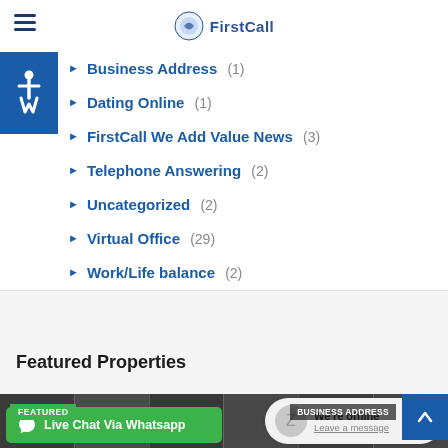FirstCall
Business Address (1)
Dating Online (1)
FirstCall We Add Value News (3)
Telephone Answering (2)
Uncategorized (2)
Virtual Office (29)
Work/Life balance (2)
Featured Properties
[Figure (photo): Featured property image strip with FEATURED and BUSINESS ADDRESS badges]
Live Chat Via Whatsapp
We're offline. Leave a message